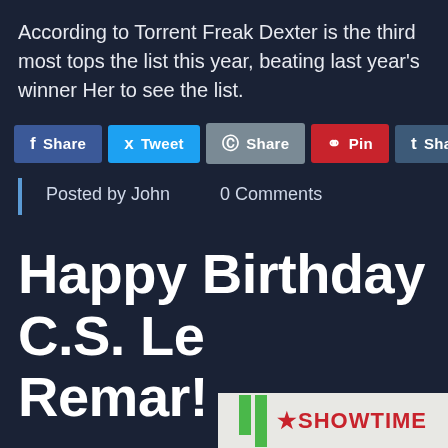According to Torrent Freak Dexter is the third most tops the list this year, beating last year's winner Her to see the list.
[Figure (other): Social sharing buttons: Share (Facebook), Tweet (Twitter), Share (Reddit), Pin (Pinterest), Share (Tumblr), M Share (Email)]
Posted by John    0 Comments
Happy Birthday C.S. Lew Remar!
[Figure (photo): Bottom partial image showing green bar chart elements on left and a Showtime network logo on the right against a light background.]